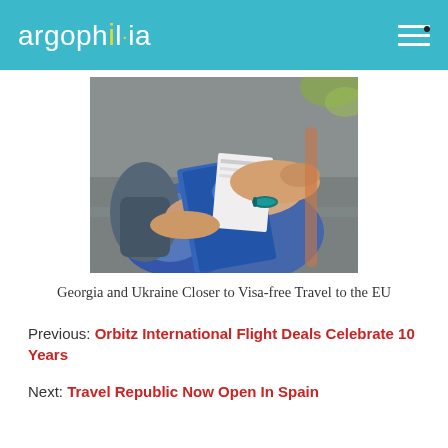argophilia
[Figure (photo): Person holding a blue Ukrainian passport with boarding pass/ticket, sitting on pavement with a backpack, wearing bracelets]
Georgia and Ukraine Closer to Visa-free Travel to the EU
Previous: Orbitz International Flight Deals Celebrate 10 Years
Next: Travel Republic Now Open In Spain